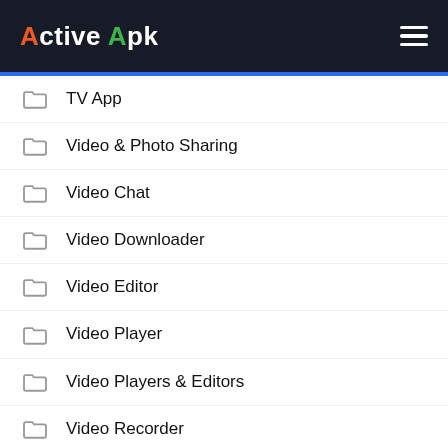Active Apk
TV App
Video & Photo Sharing
Video Chat
Video Downloader
Video Editor
Video Player
Video Players & Editors
Video Recorder
VPN
Wallpaper
WhatsApp